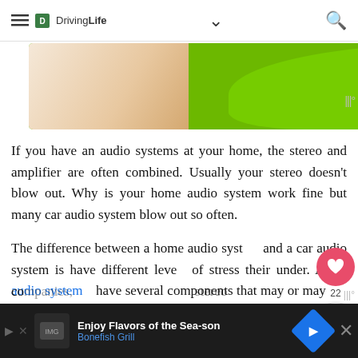DrivingLife navigation bar with hamburger menu, chevron, and search icon
[Figure (photo): Advertisement banner: 'cookies for kids cancer' on green background with hand holding cookies image]
If you have an audio systems at your home, the stereo and amplifier are often combined. Usually your stereo doesn't blow out. Why is your home audio system work fine but many car audio system blow out so often.
The difference between a home audio system and a car audio system is have different levels of stress their under. A car audio system have several components that may or may not work together well, made by different companies, a different stereo
[Figure (infographic): Social buttons overlay: heart/like button with count 22, and share button]
Enjoy Flavors of the Sea-son Bonefish Grill (advertisement banner at bottom)